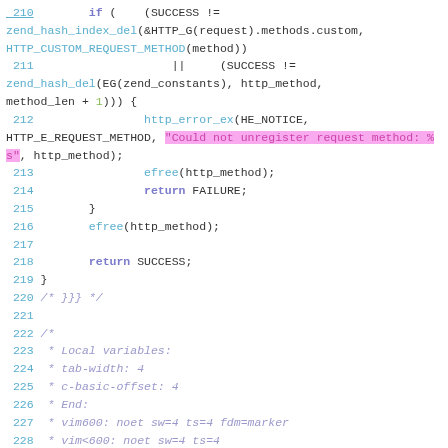[Figure (screenshot): Source code listing in a code editor showing lines 210-228 of a C file with syntax highlighting. Includes a highlighted string literal on lines 212-213, function calls in blue, keywords in purple, and comments in italic purple.]